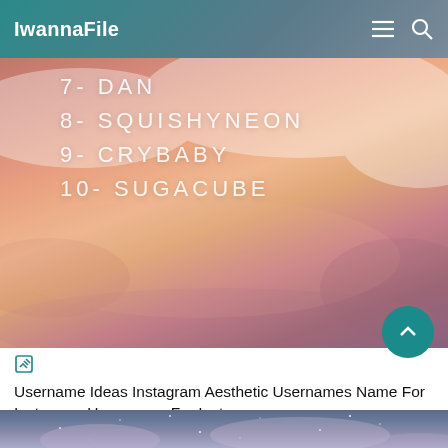IwannaFile
[Figure (photo): Numbered list of aesthetic Instagram usernames (7- DAN, 8- SQUISHYNEON, 9- CRYBABY, 10- SUGACUBE) overlaid on a pink/peach sunset sky background]
Username Ideas Instagram Aesthetic Usernames Name For Instagram Usernames For Instagram
[Figure (photo): Night sky with stars and pastel clouds — partial view at bottom of page]